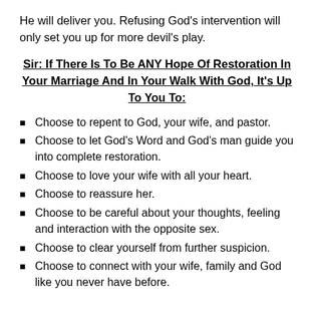He will deliver you. Refusing God's intervention will only set you up for more devil's play.
Sir: If There Is To Be ANY Hope Of Restoration In Your Marriage And In Your Walk With God, It's Up To You To:
Choose to repent to God, your wife, and pastor.
Choose to let God's Word and God's man guide you into complete restoration.
Choose to love your wife with all your heart.
Choose to reassure her.
Choose to be careful about your thoughts, feeling and interaction with the opposite sex.
Choose to clear yourself from further suspicion.
Choose to connect with your wife, family and God like you never have before.